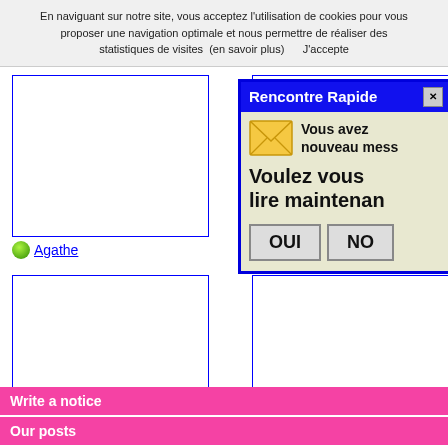En naviguant sur notre site, vous acceptez l'utilisation de cookies pour vous proposer une navigation optimale et nous permettre de réaliser des statistiques de visites  (en savoir plus)      J'accepte
[Figure (screenshot): Dating site profile grid showing four user profile placeholders (Agathe, Adrianna, Katia, Laurinne) with blue-bordered photo boxes and green online indicators, partially covered by a popup dialog]
[Figure (screenshot): Popup dialog titled 'Rencontre Rapide' with blue title bar, envelope icon, message 'Vous avez nouveau mess', 'Voulez vous lire maintenan', and two buttons OUI and NO]
Write a notice
Our posts
23 Mai 2022
145
Amazing superbe live webcams with real amateur cam models
11 Nov. 2021
435